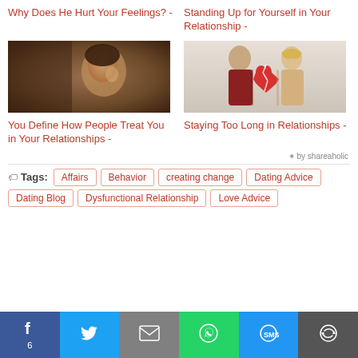Why Does He Hurt Your Feelings? -
Standing Up for Yourself in Your Relationship -
[Figure (photo): Dark moody photo of a young woman looking at her reflection]
[Figure (photo): Couple standing back to back, each holding half of a broken red heart]
You Define How People Treat You in Your Relationships -
Staying Too Long in Relationships -
✶ by shareaholic
Tags: Affairs  Behavior  creating change  Dating Advice  Dating Blog  Dysfunctional Relationship  Love Advice
[Figure (infographic): Social share bar with Facebook (6), Twitter, Email, WhatsApp, SMS, More buttons]